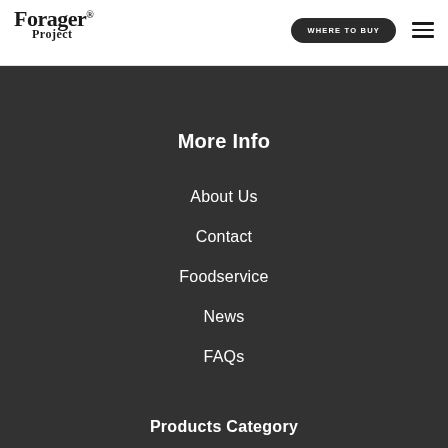Forager Project | WHERE TO BUY | menu
More Info
About Us
Contact
Foodservice
News
FAQs
Products Category